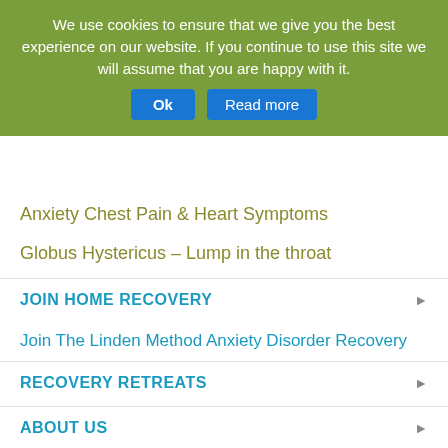We use cookies to ensure that we give you the best experience on our website. If you continue to use this site we will assume that you are happy with it. Ok Read more
Anxiety Chest Pain & Heart Symptoms
Globus Hystericus – Lump in the throat
JOIN HOME RECOVERY
Join The Linden Method Anxiety Disorder Recovery
RECOVERY RETREATS
ABOUT US
Unique services and outcomes
What is recovery?
About Linden Tree Education & TLM